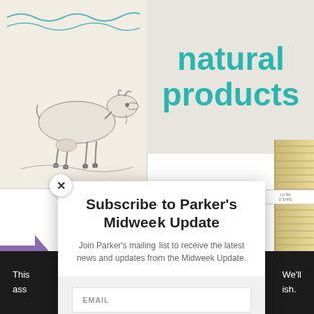[Figure (screenshot): Background webpage showing a natural products website with teal text reading 'natural products', a goat illustration on the left, a purple arrow, and a black footer bar with white text.]
Subscribe to Parker's Midweek Update
Join Parker's mailing list to receive the latest news and updates from the Midweek Update.
EMAIL
SUBSCRIBE!